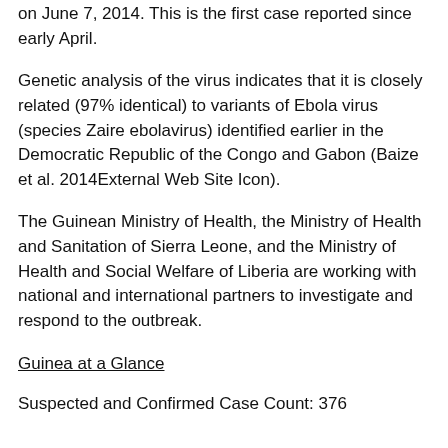on June 7, 2014. This is the first case reported since early April.
Genetic analysis of the virus indicates that it is closely related (97% identical) to variants of Ebola virus (species Zaire ebolavirus) identified earlier in the Democratic Republic of the Congo and Gabon (Baize et al. 2014External Web Site Icon).
The Guinean Ministry of Health, the Ministry of Health and Sanitation of Sierra Leone, and the Ministry of Health and Social Welfare of Liberia are working with national and international partners to investigate and respond to the outbreak.
Guinea at a Glance
Suspected and Confirmed Case Count: 376